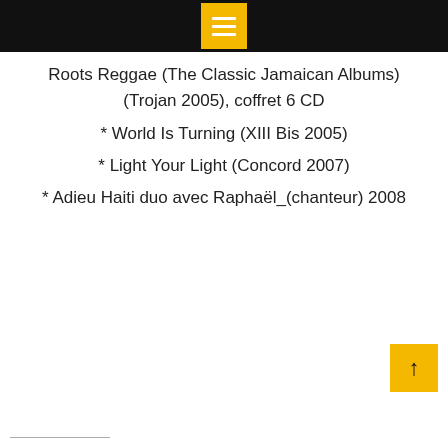Roots Reggae (The Classic Jamaican Albums) (Trojan 2005), coffret 6 CD
* World Is Turning (XIII Bis 2005)
* Light Your Light (Concord 2007)
* Adieu Haiti duo avec Raphaël_(chanteur) 2008